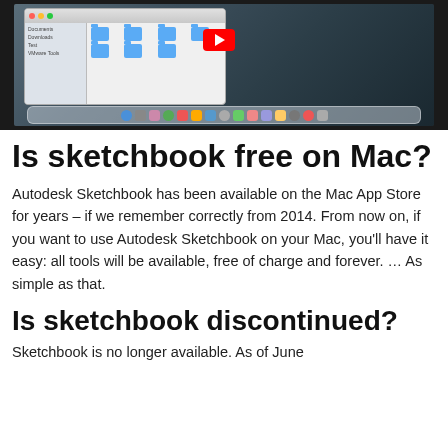[Figure (screenshot): A Mac desktop screenshot showing a Finder window with folder icons and a YouTube video overlay playing, with a dock visible at the bottom.]
Is sketchbook free on Mac?
Autodesk Sketchbook has been available on the Mac App Store for years – if we remember correctly from 2014. From now on, if you want to use Autodesk Sketchbook on your Mac, you'll have it easy: all tools will be available, free of charge and forever. … As simple as that.
Is sketchbook discontinued?
Sketchbook is no longer available. As of June